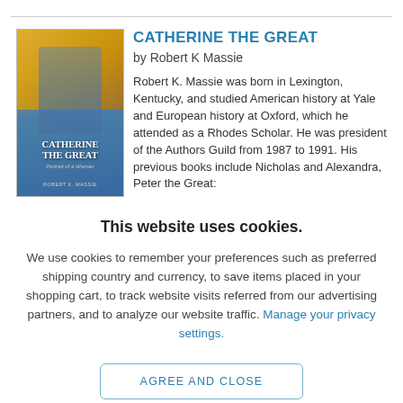[Figure (illustration): Book cover of 'Catherine the Great: Portrait of a Woman' by Robert K Massie showing a woman in historical dress against a golden/blue background]
CATHERINE THE GREAT
by Robert K Massie
Robert K. Massie was born in Lexington, Kentucky, and studied American history at Yale and European history at Oxford, which he attended as a Rhodes Scholar. He was president of the Authors Guild from 1987 to 1991. His previous books include Nicholas and Alexandra, Peter the Great:
This website uses cookies.
We use cookies to remember your preferences such as preferred shipping country and currency, to save items placed in your shopping cart, to track website visits referred from our advertising partners, and to analyze our website traffic. Manage your privacy settings.
AGREE AND CLOSE